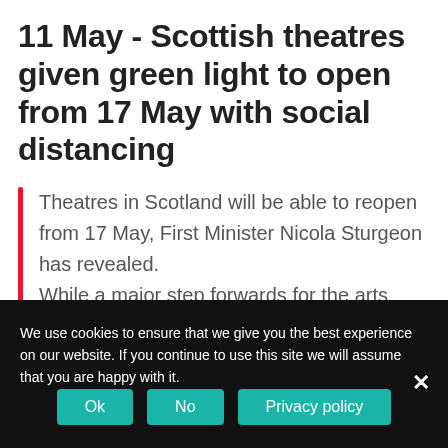11 May - Scottish theatres given green light to open from 17 May with social distancing
Theatres in Scotland will be able to reopen from 17 May, First Minister Nicola Sturgeon has revealed. While a major step forwards for the arts world in the north, the news was
We use cookies to ensure that we give you the best experience on our website. If you continue to use this site we will assume that you are happy with it.